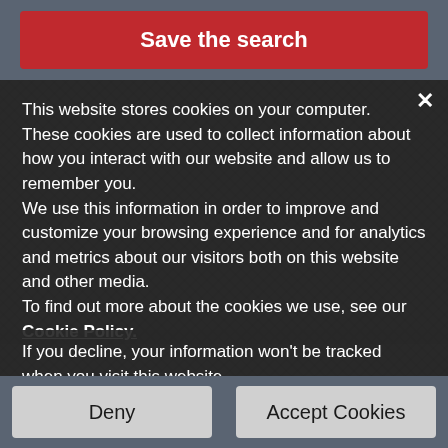Save the search
This website stores cookies on your computer. These cookies are used to collect information about how you interact with our website and allow us to remember you. We use this information in order to improve and customize your browsing experience and for analytics and metrics about our visitors both on this website and other media. To find out more about the cookies we use, see our Cookie Policy.
If you decline, your information won't be tracked when you visit this website. A single cookie will be used in your browser to remember your preference not to be tracked.
Deny
Accept Cookies